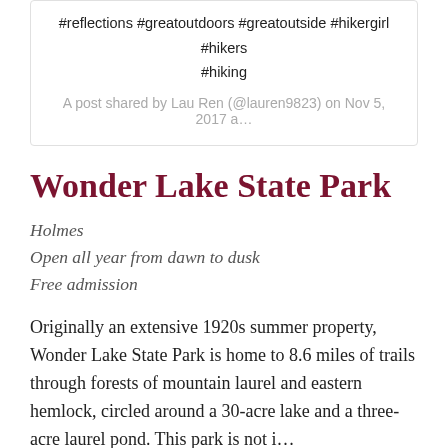#reflections #greatoutdoors #greatoutside #hikergirl #hikers #hiking
A post shared by Lau Ren (@lauren9823) on Nov 5, 2017 a…
Wonder Lake State Park
Holmes
Open all year from dawn to dusk
Free admission
Originally an extensive 1920s summer property, Wonder Lake State Park is home to 8.6 miles of trails through forests of mountain laurel and eastern hemlock, circled around a 30-acre lake and a three-acre laurel pond. This park is not i…